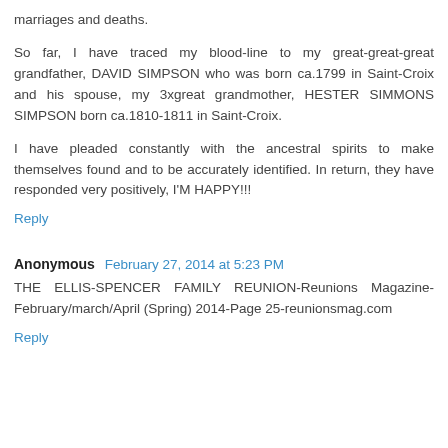marriages and deaths.
So far, I have traced my blood-line to my great-great-great grandfather, DAVID SIMPSON who was born ca.1799 in Saint-Croix and his spouse, my 3xgreat grandmother, HESTER SIMMONS SIMPSON born ca.1810-1811 in Saint-Croix.
I have pleaded constantly with the ancestral spirits to make themselves found and to be accurately identified. In return, they have responded very positively, I'M HAPPY!!!
Reply
Anonymous  February 27, 2014 at 5:23 PM
THE ELLIS-SPENCER FAMILY REUNION-Reunions Magazine-February/march/April (Spring) 2014-Page 25-reunionsmag.com
Reply